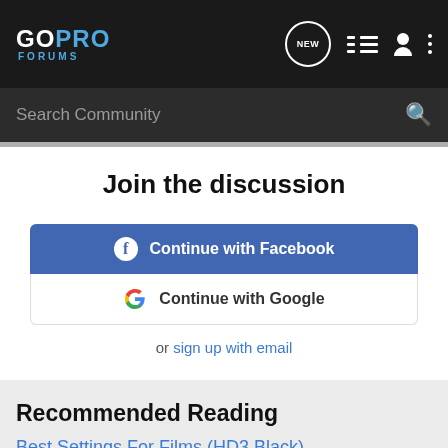[Figure (screenshot): GoPro Forums navigation bar with logo, NEW bubble icon, list icon, user icon, and three-dot menu on dark background]
[Figure (screenshot): Search Community search bar on dark background with magnifying glass icon]
Join the discussion
Continue with Facebook
Continue with Google
or sign up with email
Recommended Reading
Best Settings For Films (HD3 Black)